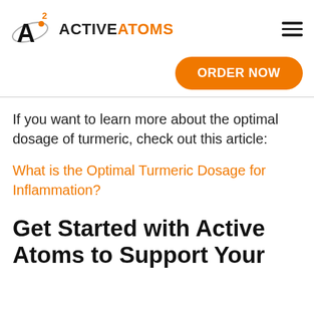ACTIVE ATOMS
If you want to learn more about the optimal dosage of turmeric, check out this article:
What is the Optimal Turmeric Dosage for Inflammation?
Get Started with Active Atoms to Support Your